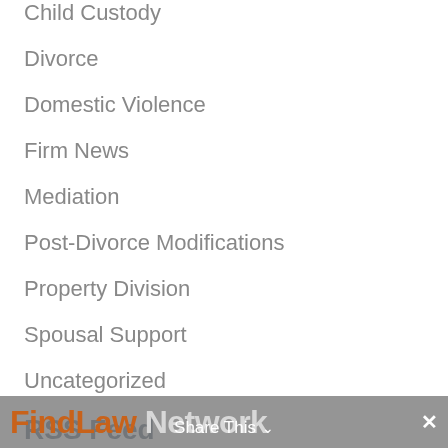Child Custody
Divorce
Domestic Violence
Firm News
Mediation
Post-Divorce Modifications
Property Division
Spousal Support
Uncategorized
RSS Feed
Subscribe To This Blog’s Feed
FindLaw Network  Share This